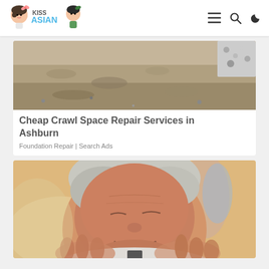KissAsian - navigation header with logo, menu, search, and dark mode icons
[Figure (photo): Close-up of sandy/muddy crawl space ground texture with some gravel]
Cheap Crawl Space Repair Services in Ashburn
Foundation Repair | Search Ads
[Figure (photo): Smiling elderly man with grey hair looking down, blurred warm background with other people]